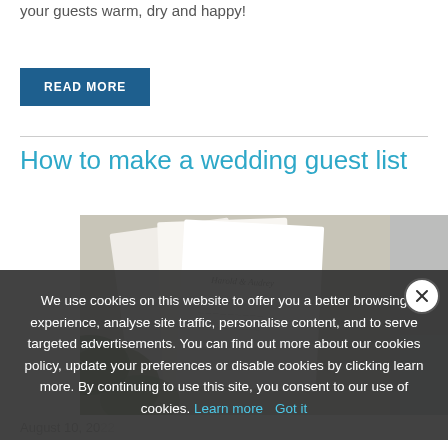your guests warm, dry and happy!
READ MORE
How to make a wedding guest list
[Figure (photo): Photo of wedding stationery / guest list booklet with cursive text, held near greenery]
August 10, 2022
We use cookies on this website to offer you a better browsing experience, analyse site traffic, personalise content, and to serve targeted advertisements. You can find out more about our cookies policy, update your preferences or disable cookies by clicking learn more. By continuing to use this site, you consent to our use of cookies. Learn more Got it